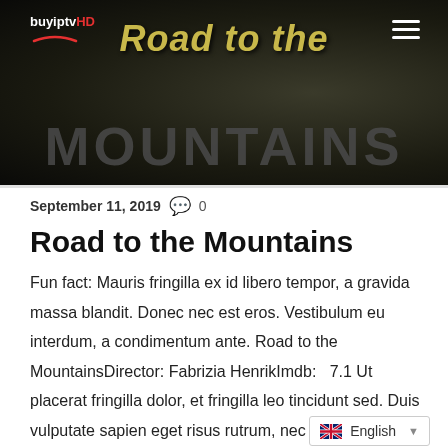[Figure (screenshot): Website header banner with dark background showing 'Road to the' in yellow italic text and 'MOUNTAINS' in large dark letters. BuyiptvHD logo in top left, hamburger menu icon in top right.]
buyiptvHD
September 11, 2019   💬 0
Road to the Mountains
Fun fact: Mauris fringilla ex id libero tempor, a gravida massa blandit. Donec nec est eros. Vestibulum eu interdum, a condimentum ante. Road to the MountainsDirector: Fabrizia HenrikImdb:   7.1 Ut placerat fringilla dolor, et fringilla leo tincidunt sed. Duis vulputate sapien eget risus rutrum, nec fermentum urna sollicitudin. Donec varius erat bibendum mi eleifend dignissim. Suspendisse elementum vel mi vitae hendrerit. Curabitur tincidunt consectetur malesuada.
English